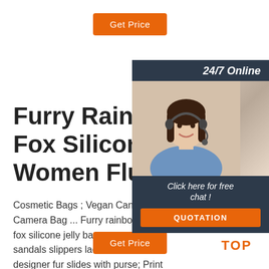[Figure (other): Orange 'Get Price' button at top]
[Figure (other): 24/7 Online chat panel with photo of woman with headset, 'Click here for free chat!' text, and orange QUOTATION button]
Furry Rainbow Set Fox Silicone Jelly Bag Women Fluffy ...
Cosmetic Bags ; Vegan Canvas Camera Bag ... Furry rainbow fox silicone jelly bag women fur sandals slippers ladies fox fur designer fur slides with purse; Print This Page ...
[Figure (other): Orange 'Get Price' button at bottom]
[Figure (other): TOP icon with orange dotted triangle and orange text 'TOP']